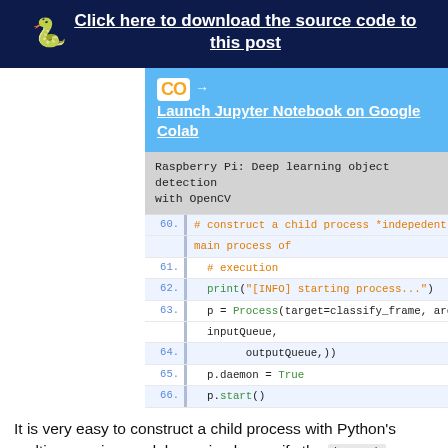Click here to download the source code to this post
[Figure (logo): Python snake emoji logo and Google Colab CO logo]
→ Launch Jupyter Notebook on Google Colab
Raspberry Pi: Deep learning object detection with OpenCV
60. # construct a child process *indepedent* from our main process of
61. # execution
62. print("[INFO] starting process...")
63. p = Process(target=classify_frame, args=(net, inputQueue,
64.     outputQueue,))
65. p.daemon = True
66. p.start()
It is very easy to construct a child process with Python's multiprocessing module — simply specify the target function and args to the function as we have done on lines 63 and 66.